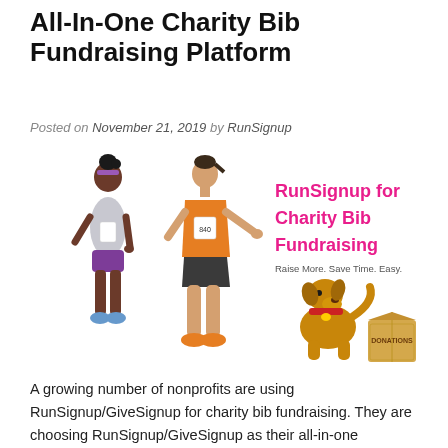All-In-One Charity Bib Fundraising Platform
Posted on November 21, 2019 by RunSignup
[Figure (illustration): Illustration showing two runners (one female, one male in orange tank top with bib number 840) on the left, and on the right text 'RunSignup for Charity Bib Fundraising' in pink/magenta bold font with tagline 'Raise More. Save Time. Easy.' below, and a cartoon dog sitting next to a cardboard DONATIONS box.]
A growing number of nonprofits are using RunSignup/GiveSignup for charity bib fundraising. They are choosing RunSignup/GiveSignup as their all-in-one fundraising solution to raise more and save